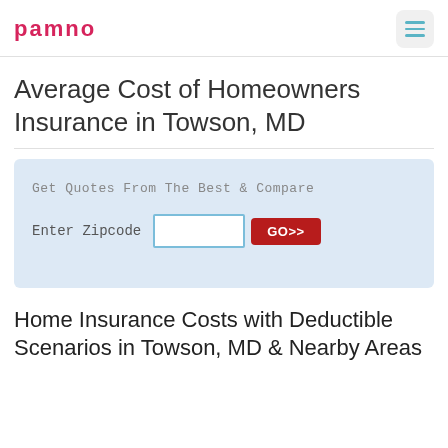pamno
Average Cost of Homeowners Insurance in Towson, MD
[Figure (other): Quote widget with tagline 'Get Quotes From The Best & Compare', zipcode input field, and GO>> button]
Home Insurance Costs with Deductible Scenarios in Towson, MD & Nearby Areas